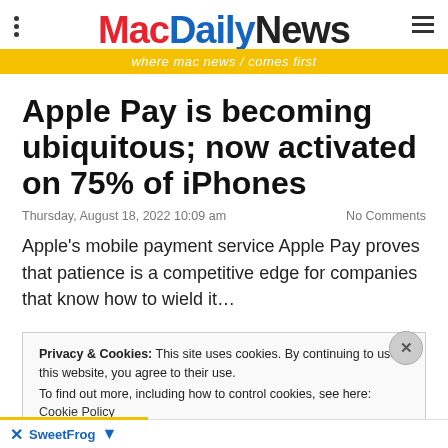Mac Daily News — where mac news comes first
Apple Pay is becoming ubiquitous; now activated on 75% of iPhones
Thursday, August 18, 2022 10:09 am    No Comments
Apple's mobile payment service Apple Pay proves that patience is a competitive edge for companies that know how to wield it…
Privacy & Cookies: This site uses cookies. By continuing to use this website, you agree to their use. To find out more, including how to control cookies, see here: Cookie Policy
Close and accept